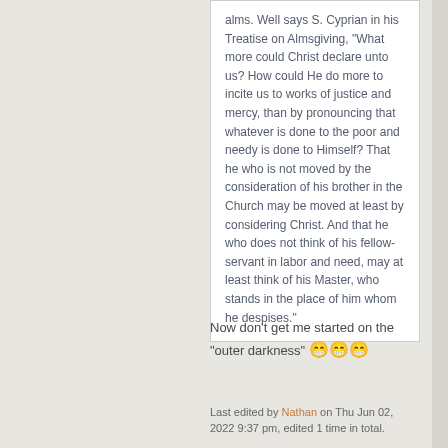alms. Well says S. Cyprian in his Treatise on Almsgiving, "What more could Christ declare unto us? How could He do more to incite us to works of justice and mercy, than by pronouncing that whatever is done to the poor and needy is done to Himself? That he who is not moved by the consideration of his brother in the Church may be moved at least by considering Christ. And that he who does not think of his fellow-servant in labor and need, may at least think of his Master, who stands in the place of him whom he despises."
Now don't get me started on the "outer darkness" 😁😁😁
Last edited by Nathan on Thu Jun 02, 2022 9:37 pm, edited 1 time in total.